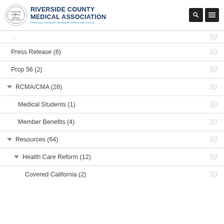RIVERSIDE COUNTY MEDICAL ASSOCIATION - Physicians caring for the people of Riverside County
Press Release (6)
Prop 56 (2)
RCMA/CMA (28)
Medical Students (1)
Member Benefits (4)
Resources (64)
Health Care Reform (12)
Covered California (2)